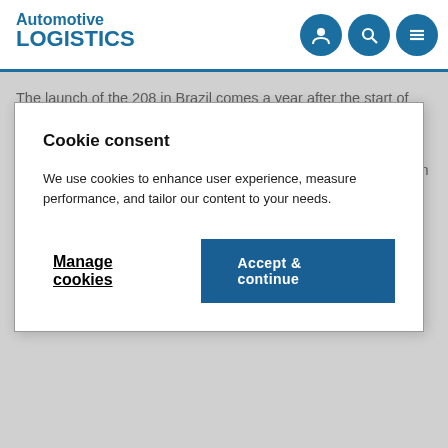Automotive LOGISTICS
Cookie consent
We use cookies to enhance user experience, measure performance, and tailor our content to your needs.
Manage cookies   Accept & continue
The launch of the 208 in Brazil comes a year after the start of sales in Europe where more than 300,000 already been made at the company's Poissy and Mulhouse plants in France, and at its Trnava facility in Slovakia. It actually sold 221,000 208 cars in 2012.
PSA Peugeot Citroen said the launch in Brazil is part of its strategy to make vehicles with a global profile and is part of its aim to push sales in non-